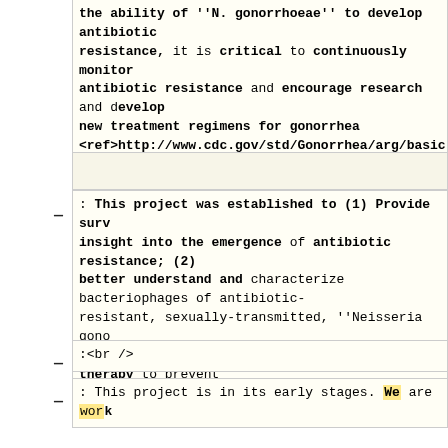the ability of ''N. gonorrhoeae'' to develop antibiotic resistance, it is critical to continuously monitor antibiotic resistance and encourage research and develop new treatment regimens for gonorrhea <ref>http://www.cdc.gov/std/Gonorrhea/arg/basic.h
: This project was established to (1) Provide surveillance insight into the emergence of antibiotic resistance; (2) better understand and characterize bacteriophages of antibiotic-resistant, sexually-transmitted, ''Neisseria gonorrhoeae''; (3) develop phage-based prophylaxis and therapy to prevent further emergence of antibiotic-resistant gonorrhea
:<br />
: This project is in its early stages. We are wor